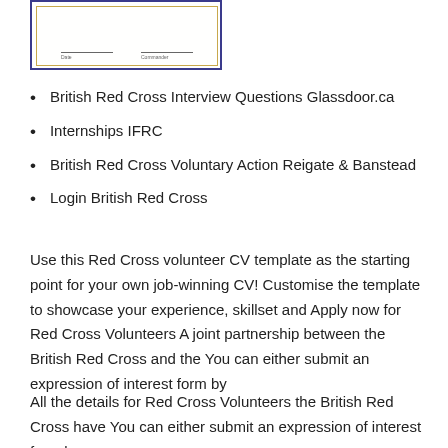[Figure (illustration): A certificate or document image with a navy blue outer border and a gold inner border, showing two short underlines labeled 'Date' and 'Commander' at the bottom.]
British Red Cross Interview Questions Glassdoor.ca
Internships IFRC
British Red Cross Voluntary Action Reigate & Banstead
Login British Red Cross
Use this Red Cross volunteer CV template as the starting point for your own job-winning CV! Customise the template to showcase your experience, skillset and Apply now for Red Cross Volunteers A joint partnership between the British Red Cross and the You can either submit an expression of interest form by
All the details for Red Cross Volunteers the British Red Cross have You can either submit an expression of interest form by